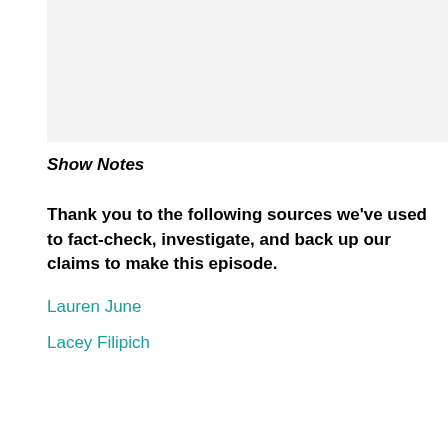[Figure (other): Light gray placeholder image area at the top of the page]
Show Notes
Thank you to the following sources we've used to fact-check, investigate, and back up our claims to make this episode.
Lauren June
Lacey Filipich